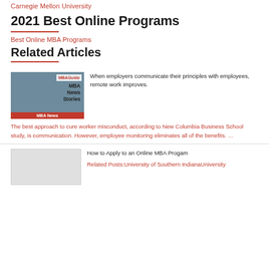Carnegie Mellon University
2021 Best Online Programs
Best Online MBA Programs
Related Articles
[Figure (illustration): MBAGuide MBA News Stories thumbnail with red bottom bar]
When employers communicate their principles with employees, remote work improves.
The best approach to cure worker misconduct, according to New Columbia Business School study, is communication. However, employee monitoring eliminates all of the benefits. …
How to Apply to an Online MBA Progam
Related Posts:University of Southern IndianaUniversity